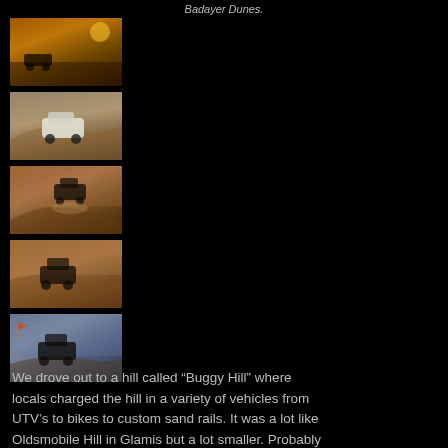Badayer Dunes.
[Figure (photo): Thumbnail photo 1: Desert sunset scene with vehicle on sand dunes, orange sky]
[Figure (photo): Thumbnail photo 2: White UTV/buggy driving on sand dunes]
[Figure (photo): Thumbnail photo 3: Off-road vehicle airborne over sand dunes]
[Figure (photo): Thumbnail photo 4: Off-road vehicle on sandy dune slope]
[Figure (photo): Thumbnail photo 5: Off-road vehicle on sand dunes, blue-grey sky]
We drove out to a hill called “Buggy Hill” where locals charged the hill in a variety of vehicles from UTV’s to bikes to custom sand rails. It was a lot like Oldsmobile Hill in Glamis but a lot smaller. Probably the biggest difference was the massive amount of four-wheel drive SUV’s out charging the